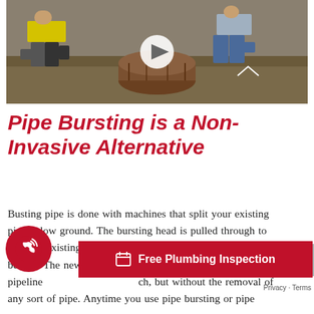[Figure (photo): Two workers in outdoor construction site working with a large old pipe/barrel on gravel, one wearing yellow vest. Video thumbnail with play button overlay.]
Pipe Bursting is a Non-Invasive Alternative
Busting pipe is done with machines that split your existing pipe below ground. The bursting head is pulled through to split the existing pipe while dragging a new pipe inside behind. The new structure replaces existing pipeline…ch, but without the removal of any sort of pipe. Anytime you use pipe bursting or pipe